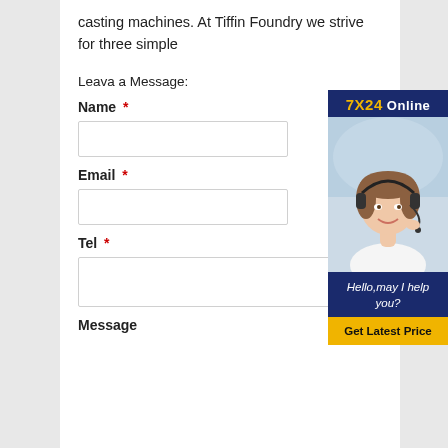casting machines. At Tiffin Foundry we strive for three simple
Leava a Message:
Name *
Email *
Tel *
Message
[Figure (infographic): 7X24 Online chat widget with a customer service representative wearing a headset, dark navy background, text reading 'Hello,may I help you?' and a yellow 'Get Latest Price' button.]